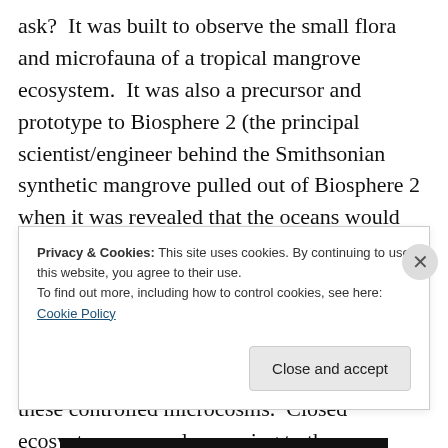ask?  It was built to observe the small flora and microfauna of a tropical mangrove ecosystem.  It was also a precursor and prototype to Biosphere 2 (the principal scientist/engineer behind the Smithsonian synthetic mangrove pulled out of Biosphere 2 when it was revealed that the oceans would not be built of limestone!).  The whole system was an early attempt at creating a large scale contained ecosystem.  Ecologists hoped to better understand the wildly complicated nature of real ecosystems through looking at these controlled microcosms.  Closed ecosystems were also coming to the
Privacy & Cookies: This site uses cookies. By continuing to use this website, you agree to their use.
To find out more, including how to control cookies, see here: Cookie Policy